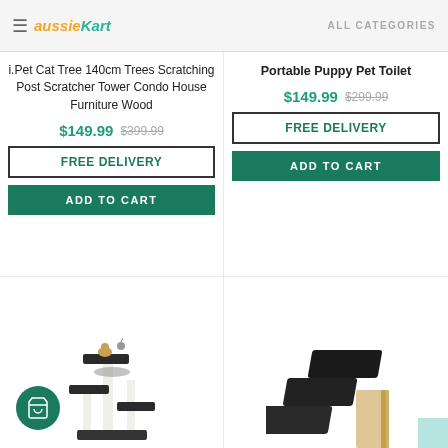aussieKart | ALL CATEGORIES
Portable Puppy Pet Toilet
$149.99  $299.99
FREE DELIVERY
ADD TO CART
i.Pet Cat Tree 140cm Trees Scratching Post Scratcher Tower Condo House Furniture Wood
$149.99  $399.99
FREE DELIVERY
ADD TO CART
[Figure (photo): Cat tree/scratcher tower product photo at bottom left]
[Figure (photo): Dark foam pet stairs product photo at bottom right]